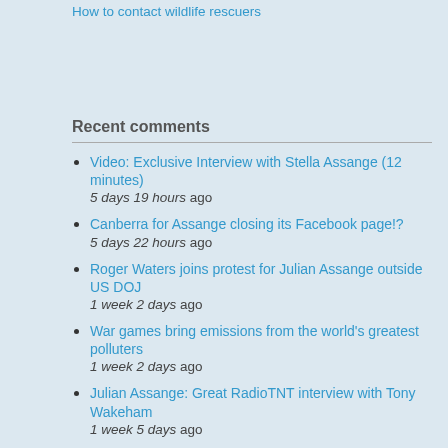How to contact wildlife rescuers
Recent comments
Video: Exclusive Interview with Stella Assange (12 minutes)
5 days 19 hours ago
Canberra for Assange closing its Facebook page!?
5 days 22 hours ago
Roger Waters joins protest for Julian Assange outside US DOJ
1 week 2 days ago
War games bring emissions from the world's greatest polluters
1 week 2 days ago
Julian Assange: Great RadioTNT interview with Tony Wakeham
1 week 5 days ago
Thursdays: Assange-gathering at Albanese's office Marrickville
1 week 6 days ago
Julian Assange United States Consulate Gathering Wednesdays NSW
2 weeks 14 min ago
'Quiet diplomacy' will free Julian Assange?